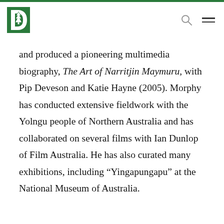Dartmouth logo, search icon, menu icon
and produced a pioneering multimedia biography, The Art of Narritjin Maymuru, with Pip Deveson and Katie Hayne (2005). Morphy has conducted extensive fieldwork with the Yolngu people of Northern Australia and has collaborated on several films with Ian Dunlop of Film Australia. He has also curated many exhibitions, including “Yingapungapu” at the National Museum of Australia.